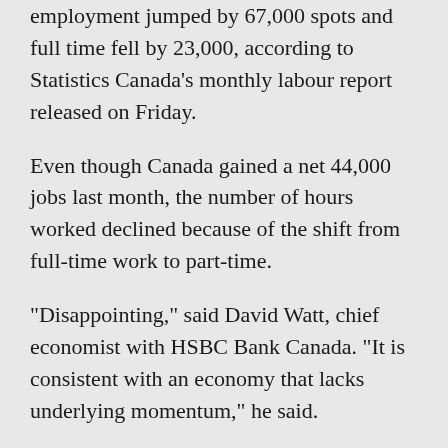employment jumped by 67,000 spots and full time fell by 23,000, according to Statistics Canada's monthly labour report released on Friday.
Even though Canada gained a net 44,000 jobs last month, the number of hours worked declined because of the shift from full-time work to part-time.
“Disappointing,” said David Watt, chief economist with HSBC Bank Canada. “It is consistent with an economy that lacks underlying momentum,” he said.
Nowhere was this felt more than among men who are in their prime working age of between 25 and 54. This cohort has suffered a